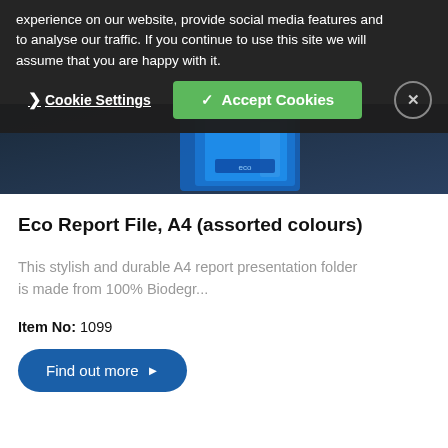experience on our website, provide social media features and to analyse our traffic. If you continue to use this site we will assume that you are happy with it.
❯ Cookie Settings   ✓ Accept Cookies   ✕
[Figure (photo): Partial view of blue report file/folder product against dark background]
Eco Report File, A4 (assorted colours)
This stylish and durable A4 report presentation folder is made from 100% Biodegr...
Item No: 1099
Find out more ▶